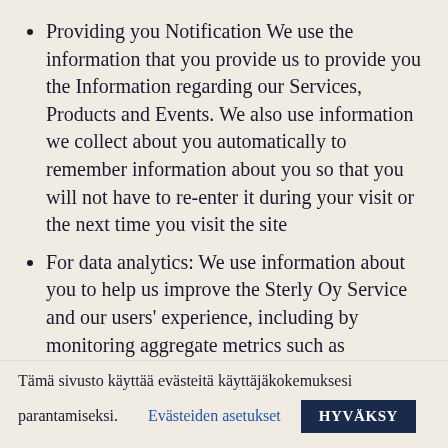Providing you Notification We use the information that you provide us to provide you the Information regarding our Services, Products and Events. We also use information we collect about you automatically to remember information about you so that you will not have to re-enter it during your visit or the next time you visit the site
For data analytics: We use information about you to help us improve the Sterly Oy Service and our users' experience, including by monitoring aggregate metrics such as
Tämä sivusto käyttää evästeitä käyttäjäkokemuksesi parantamiseksi.    Evästeiden asetukset    HYVÄKSY